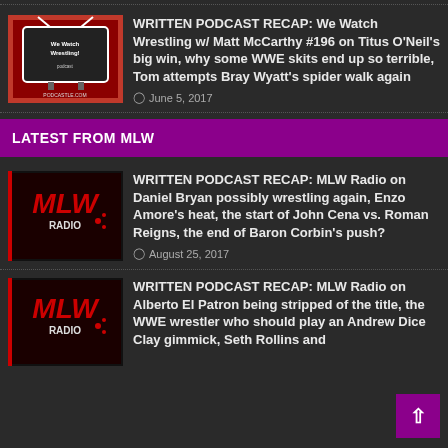WRITTEN PODCAST RECAP: We Watch Wrestling w/ Matt McCarthy #196 on Titus O'Neil's big win, why some WWE skits end up so terrible, Tom attempts Bray Wyatt's spider walk again
June 5, 2017
LATEST FROM MLW
WRITTEN PODCAST RECAP: MLW Radio on Daniel Bryan possibly wrestling again, Enzo Amore's heat, the start of John Cena vs. Roman Reigns, the end of Baron Corbin's push?
August 25, 2017
WRITTEN PODCAST RECAP: MLW Radio on Alberto El Patron being stripped of the title, the WWE wrestler who should play an Andrew Dice Clay gimmick, Seth Rollins and